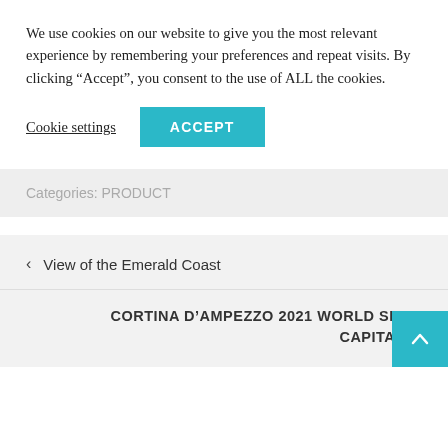We use cookies on our website to give you the most relevant experience by remembering your preferences and repeat visits. By clicking “Accept”, you consent to the use of ALL the cookies.
Cookie settings | ACCEPT
Categories: PRODUCT
< View of the Emerald Coast
CORTINA D’AMPEZZO 2021 WORLD SKI CAPITAL >